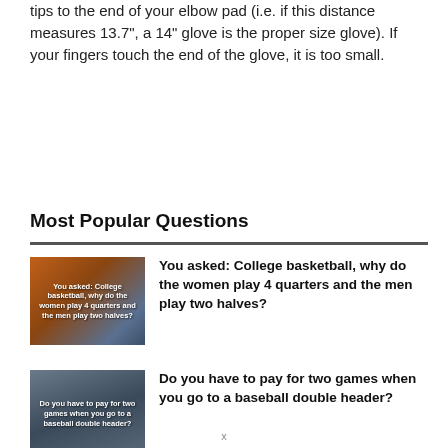tips to the end of your elbow pad (i.e. if this distance measures 13.7", a 14" glove is the proper size glove). If your fingers touch the end of the glove, it is too small.
Most Popular Questions
[Figure (photo): Thumbnail image of a basketball court/basketball with overlay text: You asked: College basketball, why do the women play 4 quarters and the men play two halves?]
You asked: College basketball, why do the women play 4 quarters and the men play two halves?
[Figure (photo): Thumbnail image of a baseball stadium with overlay text: Do you have to pay for two games when you go to a baseball double header?]
Do you have to pay for two games when you go to a baseball double header?